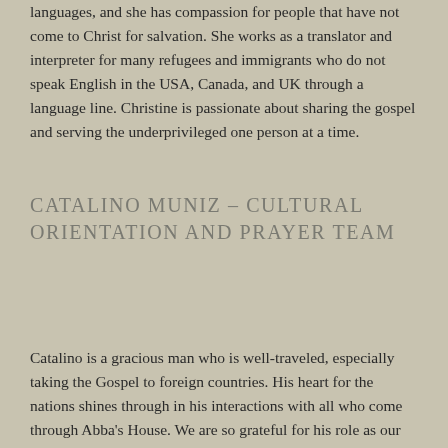languages, and she has compassion for people that have not come to Christ for salvation. She works as a translator and interpreter for many refugees and immigrants who do not speak English in the USA, Canada, and UK through a language line. Christine is passionate about sharing the gospel and serving the underprivileged one person at a time.
CATALINO MUNIZ – CULTURAL ORIENTATION AND PRAYER TEAM
Catalino is a gracious man who is well-traveled, especially taking the Gospel to foreign countries. His heart for the nations shines through in his interactions with all who come through Abba's House. We are so grateful for his role as our Prayer Team Coordinator,